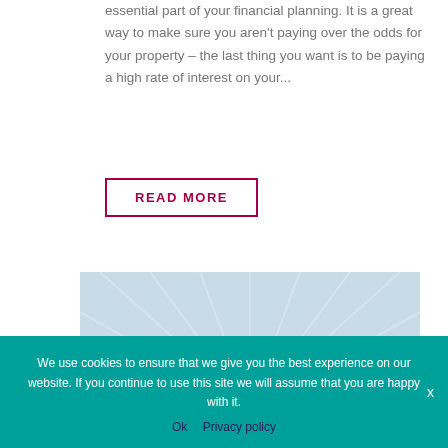essential part of your financial planning. It is a great way to make sure you aren't paying over the odds for your property – the last thing you want is to be paying a high rate of interest on your...
READ MORE
[Figure (illustration): Partial image showing a dark navy circular badge with white text 'NEW' visible, on a light blue radiant background]
We use cookies to ensure that we give you the best experience on our website. If you continue to use this site we will assume that you are happy with it.
Ok   Privacy policy